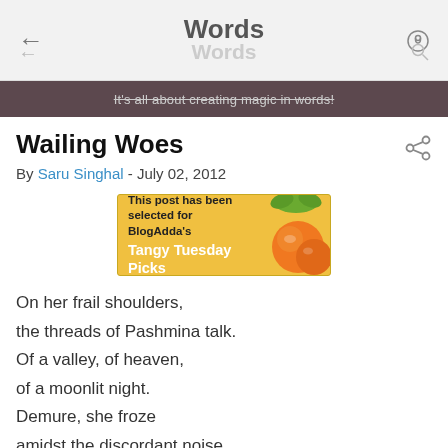Words
It's all about creating magic in words!
Wailing Woes
By Saru Singhal - July 02, 2012
[Figure (other): BlogAdda Tangy Tuesday Picks badge — gold/yellow banner with orange image and text: This post has been selected for BlogAdda's Tangy Tuesday Picks]
On her frail shoulders,
the threads of Pashmina talk.
Of a valley, of heaven,
of a moonlit night.
Demure, she froze
amidst the discordant noise,
Charred bodies around her,
her flesh and blood died.
On moonlit nights, hence